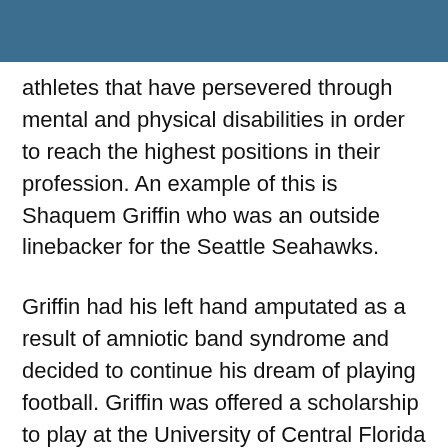athletes that have persevered through mental and physical disabilities in order to reach the highest positions in their profession. An example of this is Shaquem Griffin who was an outside linebacker for the Seattle Seahawks.
Griffin had his left hand amputated as a result of amniotic band syndrome and decided to continue his dream of playing football. Griffin was offered a scholarship to play at the University of Central Florida in which he was a critical part in bringing the program into the national spotlight. In Griffin's final season at the University of Central Florida, he was the Atlantic Athletic Conference Defensive Player of the Year, or